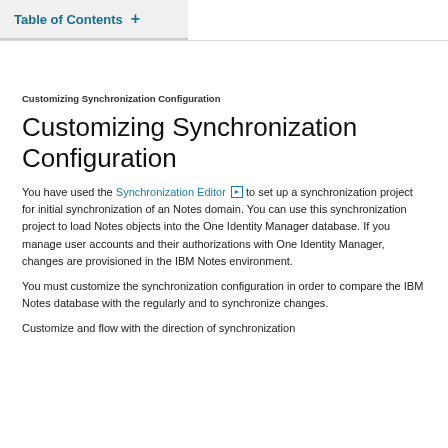Table of Contents +
Customizing Synchronization Configuration
Customizing Synchronization Configuration
You have used the Synchronization Editor [icon] to set up a synchronization project for initial synchronization of an Notes domain. You can use this synchronization project to load Notes objects into the One Identity Manager database. If you manage user accounts and their authorizations with One Identity Manager, changes are provisioned in the IBM Notes environment.
You must customize the synchronization configuration in order to compare the IBM Notes database with the regularly and to synchronize changes.
Customize and flow with the direction of synchronization